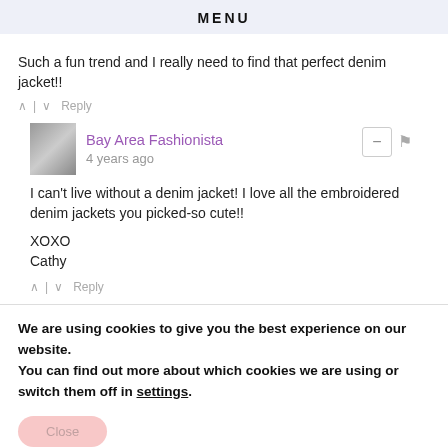MENU
Such a fun trend and I really need to find that perfect denim jacket!!
^ | v  Reply
Bay Area Fashionista
4 years ago
I can't live without a denim jacket! I love all the embroidered denim jackets you picked-so cute!!

XOXO
Cathy
^ | v  Reply
We are using cookies to give you the best experience on our website.
You can find out more about which cookies we are using or switch them off in settings.
Close